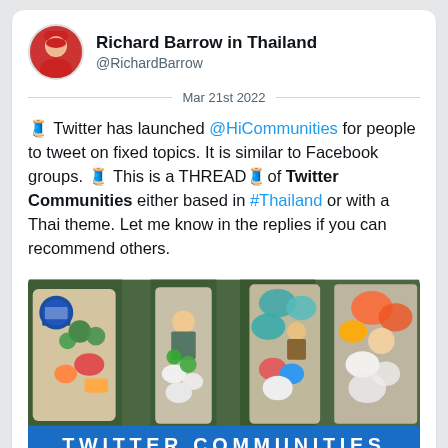Richard Barrow in Thailand @RichardBarrow
Mar 21st 2022
🧵 Twitter has launched @HiCommunities for people to tweet on fixed topics. It is similar to Facebook groups. 🧵 This is a THREAD🧵of Twitter Communities either based in #Thailand or with a Thai theme. Let me know in the replies if you can recommend others.
[Figure (photo): Aerial view of boats at a floating market in Thailand with a blue banner reading TWITTER COMMUNITIES]
Read 12 tweets